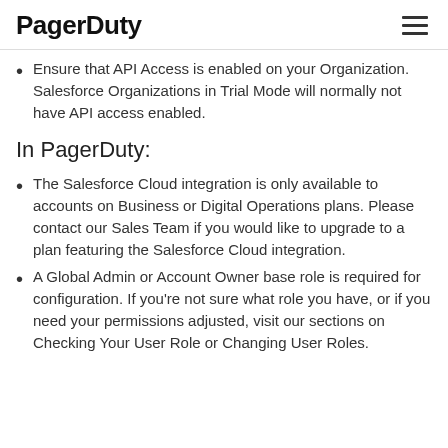PagerDuty
Ensure that API Access is enabled on your Organization. Salesforce Organizations in Trial Mode will normally not have API access enabled.
In PagerDuty:
The Salesforce Cloud integration is only available to accounts on Business or Digital Operations plans. Please contact our Sales Team if you would like to upgrade to a plan featuring the Salesforce Cloud integration.
A Global Admin or Account Owner base role is required for configuration. If you're not sure what role you have, or if you need your permissions adjusted, visit our sections on Checking Your User Role or Changing User Roles.